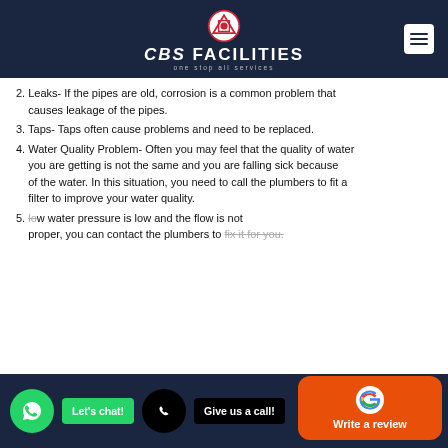CBS FACILITIES one stop all services
2. Leaks- If the pipes are old, corrosion is a common problem that causes leakage of the pipes.
3. Taps- Taps often cause problems and need to be replaced.
4. Water Quality Problem- Often you may feel that the quality of water you are getting is not the same and you are falling sick because of the water. In this situation, you need to call the plumbers to fit a filter to improve your water quality.
5. Low water pressure is low and the flow is not proper, you can contact the plumbers to fix it for you.
[Figure (logo): WhatsApp icon green circle button]
Let's chat!
Give us a call!
[Figure (logo): Google Write a review orange button with Google G logo]